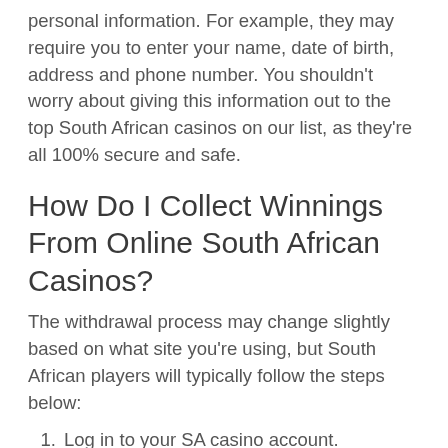personal information. For example, they may require you to enter your name, date of birth, address and phone number. You shouldn't worry about giving this information out to the top South African casinos on our list, as they're all 100% secure and safe.
How Do I Collect Winnings From Online South African Casinos?
The withdrawal process may change slightly based on what site you're using, but South African players will typically follow the steps below:
Log in to your SA casino account.
Locate the casino's cashier section.
Select a withdrawal method from South African options.
Fill out the information the casino requests, including the withdrawal amount.
Click “submit” and wait for the site to process your